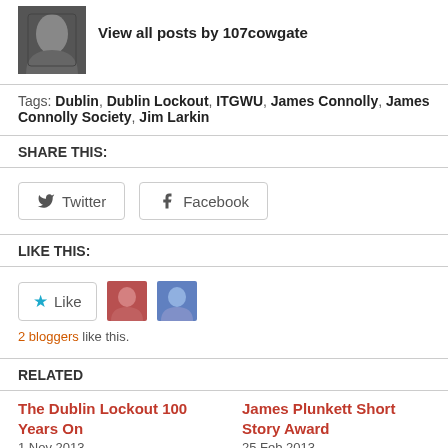View all posts by 107cowgate
Tags: Dublin, Dublin Lockout, ITGWU, James Connolly, James Connolly Society, Jim Larkin
SHARE THIS:
[Figure (other): Twitter and Facebook share buttons]
LIKE THIS:
[Figure (other): Like button with star icon and two blogger avatars, 2 bloggers like this.]
RELATED
The Dublin Lockout 100 Years On
1 Nov 2013
James Plunkett Short Story Award
25 Feb 2013